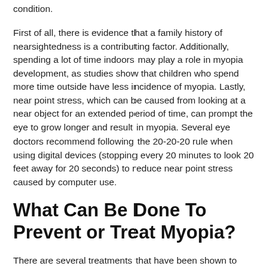condition.
First of all, there is evidence that a family history of nearsightedness is a contributing factor. Additionally, spending a lot of time indoors may play a role in myopia development, as studies show that children who spend more time outside have less incidence of myopia. Lastly, near point stress, which can be caused from looking at a near object for an extended period of time, can prompt the eye to grow longer and result in myopia. Several eye doctors recommend following the 20-20-20 rule when using digital devices (stopping every 20 minutes to look 20 feet away for 20 seconds) to reduce near point stress caused by computer use.
What Can Be Done To Prevent or Treat Myopia?
There are several treatments that have been shown to slow the progression of myopia.